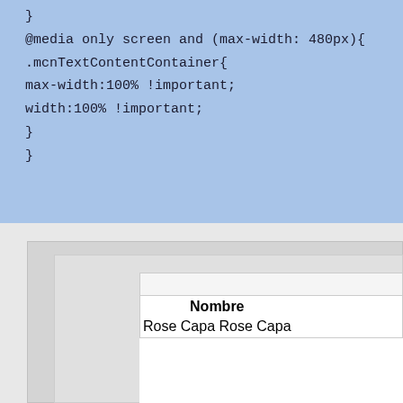}
@media only screen and (max-width: 480px){
.mcnTextContentContainer{
max-width:100% !important;
width:100% !important;
}
}
[Figure (screenshot): Screenshot showing nested UI panels with a table. The table has a header 'Nombre' and a row with 'Rose Capa Rose Capa'.]
| Nombre |
| --- |
| Rose Capa Rose Capa |